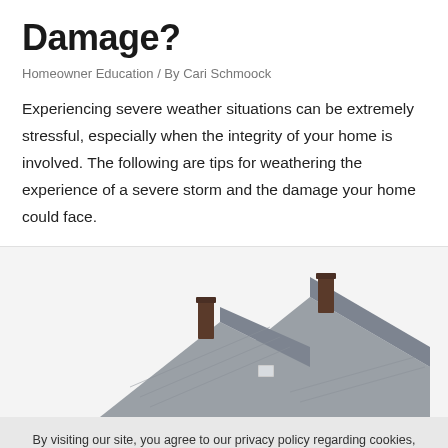Damage?
Homeowner Education / By Cari Schmoock
Experiencing severe weather situations can be extremely stressful, especially when the integrity of your home is involved. The following are tips for weathering the experience of a severe storm and the damage your home could face.
[Figure (photo): Illustration of a house with grey shingled roof and brick chimneys, viewed from above at an angle]
By visiting our site, you agree to our privacy policy regarding cookies, tracking statistics, etc. Read more
Accept
X